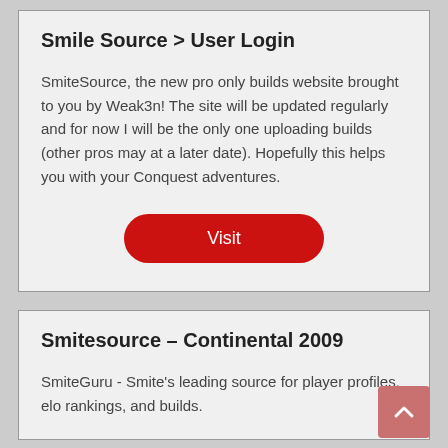Smile Source > User Login
SmiteSource, the new pro only builds website brought to you by Weak3n! The site will be updated regularly and for now I will be the only one uploading builds (other pros may at a later date). Hopefully this helps you with your Conquest adventures.
[Figure (other): Red rounded button labeled 'Visit']
Smitesource – Continental 2009
SmiteGuru - Smite's leading source for player profiles, elo rankings, and builds.